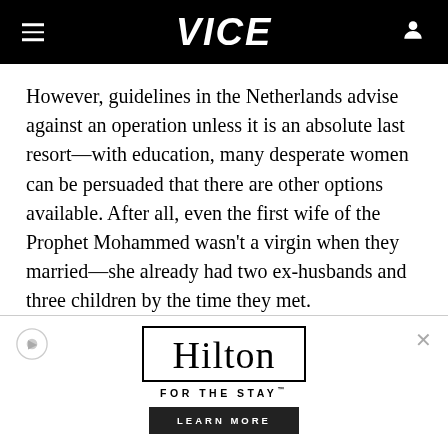VICE
However, guidelines in the Netherlands advise against an operation unless it is an absolute last resort—with education, many desperate women can be persuaded that there are other options available. After all, even the first wife of the Prophet Mohammed wasn't a virgin when they married—she already had two ex-husbands and three children by the time they met.
[Figure (other): Hilton advertisement: Hilton logo in a box with tagline 'FOR THE STAY' and a 'LEARN MORE' button]